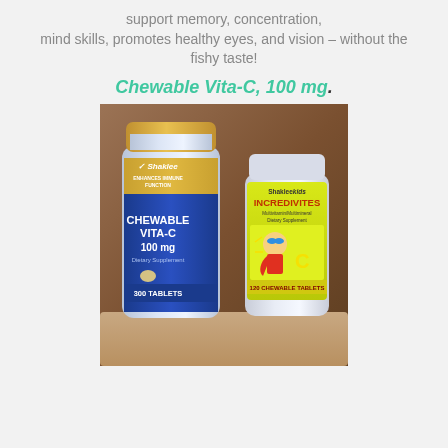support memory, concentration, mind skills, promotes healthy eyes, and vision – without the fishy taste!
Chewable Vita-C, 100 mg.
[Figure (photo): Photo of two supplement bottles held in a hand against a brown background. Left bottle: Shaklee Chewable Vita-C 100mg, 300 Tablets, blue and gold label, Enhances Immune Function. Right bottle: Shaklee Kids Incredivites, Multivitamin/Multimineral Dietary Supplement, 120 Chewable Tablets, green label with superhero cartoon character.]